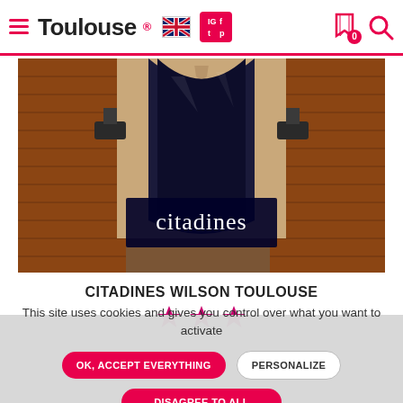Toulouse — navigation bar with logo, language/social icons, bookmark and search
[Figure (photo): Exterior facade of Citadines hotel building showing a large illuminated 'citadines' sign under a brick arch]
CITADINES WILSON TOULOUSE
[Figure (illustration): Three magenta/pink star rating icons]
This site uses cookies and gives you control over what you want to activate
OK, ACCEPT EVERYTHING
PERSONALIZE
DISAGREE TO ALL